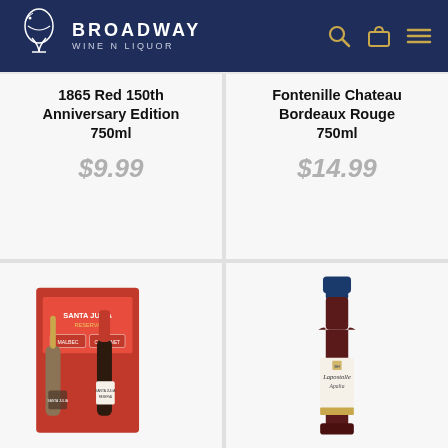Broadway Wine N Liquor
1865 Red 150th Anniversary Edition 750ml
$9.99
[Figure (photo): Santa Julia Reserva Malbec and Cabernet Sauvignon two-bottle gift set in red packaging]
Fontenille Chateau Bordeaux Rouge 750ml
$14.99
[Figure (photo): Lapostolle Apalta red wine bottle with blue cap and white label]